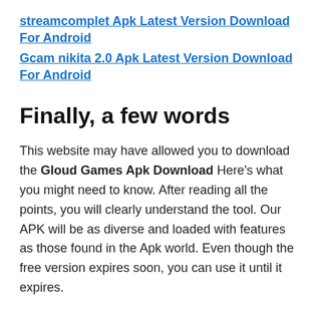streamcomplet Apk Latest Version Download For Android
Gcam nikita 2.0 Apk Latest Version Download For Android
Finally, a few words
This website may have allowed you to download the Gloud Games Apk Download Here's what you might need to know. After reading all the points, you will clearly understand the tool. Our APK will be as diverse and loaded with features as those found in the Apk world. Even though the free version expires soon, you can use it until it expires.
You have to download this excellent app on Android and PC. Make sure everyone knows about it. There